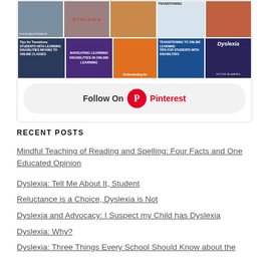[Figure (screenshot): Pinterest widget showing a grid of educational images about dyslexia and online learning, with a 'Follow On Pinterest' button below.]
RECENT POSTS
Mindful Teaching of Reading and Spelling: Four Facts and One Educated Opinion
Dyslexia: Tell Me About It, Student
Reluctance is a Choice, Dyslexia is Not
Dyslexia and Advocacy: I Suspect my Child has Dyslexia
Dyslexia: Why?
Dyslexia: Three Things Every School Should Know about the...